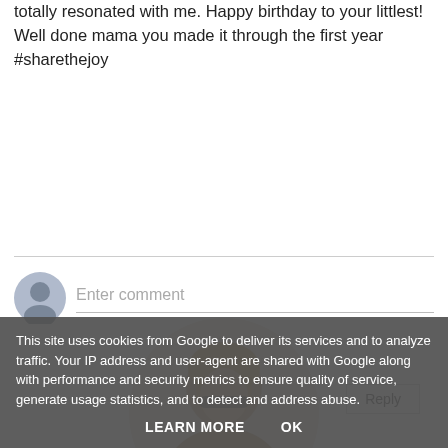totally resonated with me. Happy birthday to your littlest! Well done mama you made it through the first year #sharethejoy
Reply
Enter comment
[Figure (photo): Circular cropped profile photo of a person with light hair, partially visible, cropped at bottom of frame.]
This site uses cookies from Google to deliver its services and to analyze traffic. Your IP address and user-agent are shared with Google along with performance and security metrics to ensure quality of service, generate usage statistics, and to detect and address abuse.
LEARN MORE   OK